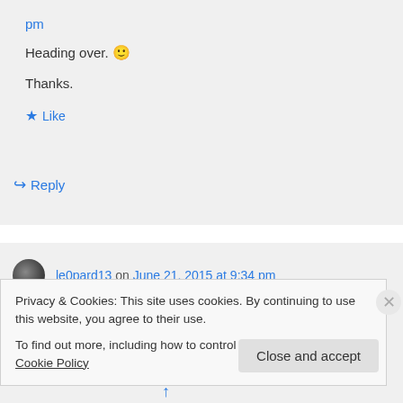pm
Heading over. 🙂
Thanks.
★ Like
↪ Reply
le0pard13 on June 21, 2015 at 9:34 pm
Privacy & Cookies: This site uses cookies. By continuing to use this website, you agree to their use.
To find out more, including how to control cookies, see here: Cookie Policy
Close and accept